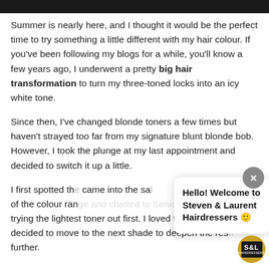[Figure (photo): Top portion of a person's photo, dark background, showing head/shoulders area cropped at top of page]
Summer is nearly here, and I thought it would be the perfect time to try something a little different with my hair colour. If you've been following my blogs for a while, you'll know a few years ago, I underwent a pretty big hair transformation to turn my three-toned locks into an icy white tone.
Since then, I've changed blonde toners a few times but haven't strayed too far from my signature blunt blonde bob. However, I took the plunge at my last appointment and decided to switch it up a little.
I first spotted th... came into the sa... of the colour range and chatted to Senior Stylist Ellie abo... trying the lightest toner out first. I loved the result, so... decided to move to the next shade to deepen the res... further.
[Figure (screenshot): Chat widget overlay showing 'Hello! Welcome to Steven & Laurent Hairdressers' message with a close button (X) and S&L logo badge]